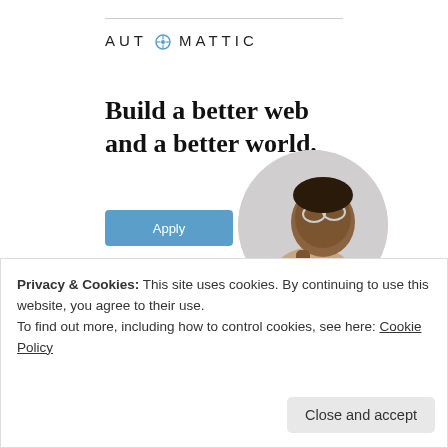[Figure (logo): Automattic logo with compass/target icon replacing the letter O]
Build a better web and a better world.
[Figure (photo): Circular photo of a man wearing glasses, sitting at a desk and looking upward thoughtfully]
Apply
REPORT THIS AD
Shard • on 10/02/2017 at 00:12
Privacy & Cookies: This site uses cookies. By continuing to use this website, you agree to their use.
To find out more, including how to control cookies, see here: Cookie Policy
Close and accept
Liked by 11 people